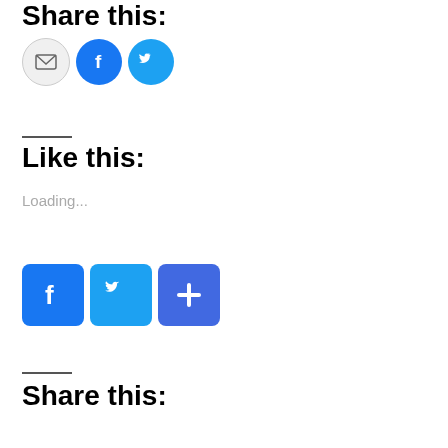Share this:
[Figure (infographic): Three circular social share buttons: gray email icon, blue Facebook icon, blue Twitter bird icon]
Like this:
Loading...
[Figure (infographic): Three square social share buttons: blue Facebook F, blue Twitter bird, blue plus/share icon]
Share this: